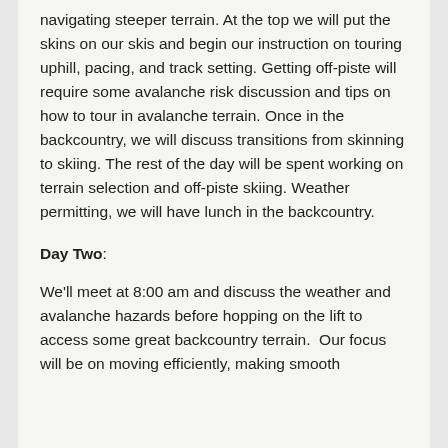navigating steeper terrain. At the top we will put the skins on our skis and begin our instruction on touring uphill, pacing, and track setting. Getting off-piste will require some avalanche risk discussion and tips on how to tour in avalanche terrain. Once in the backcountry, we will discuss transitions from skinning to skiing. The rest of the day will be spent working on terrain selection and off-piste skiing. Weather permitting, we will have lunch in the backcountry.
Day Two:
We'll meet at 8:00 am and discuss the weather and avalanche hazards before hopping on the lift to access some great backcountry terrain.  Our focus will be on moving efficiently, making smooth